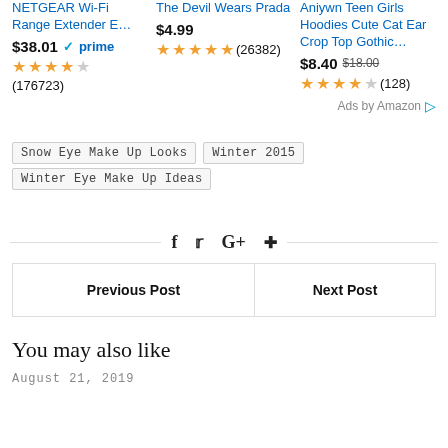[Figure (other): Amazon ad section with 3 products: NETGEAR Wi-Fi Range Extender E... ($38.01, prime, 3.5 stars, 176723 reviews), The Devil Wears Prada ($4.99, 5 stars, 26382 reviews), Aniywn Teen Girls Hoodies Cute Cat Ear Crop Top Gothic... ($8.40 was $18.00, 3.5 stars, 128 reviews). Ads by Amazon label at bottom right.]
Snow Eye Make Up Looks
Winter 2015
Winter Eye Make Up Ideas
[Figure (other): Social sharing icons row: Facebook (f), Twitter bird, Google+ (G+), Pinterest (pin icon), with horizontal lines on each side]
| Previous Post | Next Post |
| --- | --- |
You may also like
August 21, 2019